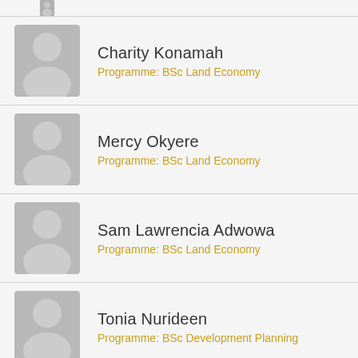[Figure (photo): Partial placeholder avatar silhouette at top of page (cropped)]
Charity Konamah
Programme: BSc Land Economy
Mercy Okyere
Programme: BSc Land Economy
Sam Lawrencia Adwowa
Programme: BSc Land Economy
Tonia Nurideen
Programme: BSc Development Planning